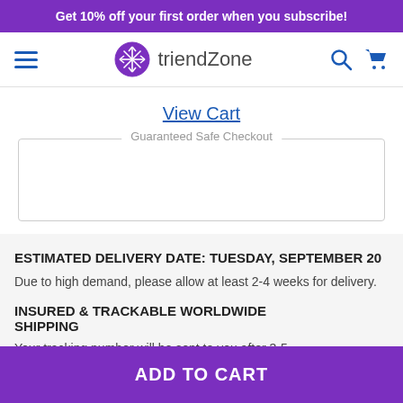Get 10% off your first order when you subscribe!
[Figure (logo): triendZone logo with snowflake icon in purple circle, with hamburger menu, search, and cart icons]
View Cart
Guaranteed Safe Checkout
ESTIMATED DELIVERY DATE: TUESDAY, SEPTEMBER 20
Due to high demand, please allow at least 2-4 weeks for delivery.
INSURED & TRACKABLE WORLDWIDE SHIPPING
Your tracking number will be sent to you after 3-5 processing
ADD TO CART